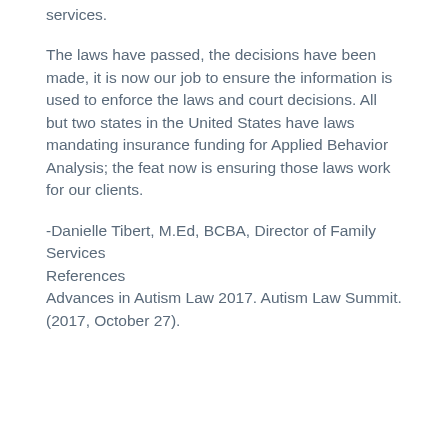services.
The laws have passed, the decisions have been made, it is now our job to ensure the information is used to enforce the laws and court decisions. All but two states in the United States have laws mandating insurance funding for Applied Behavior Analysis; the feat now is ensuring those laws work for our clients.
-Danielle Tibert, M.Ed, BCBA, Director of Family Services
References
Advances in Autism Law 2017. Autism Law Summit. (2017, October 27).